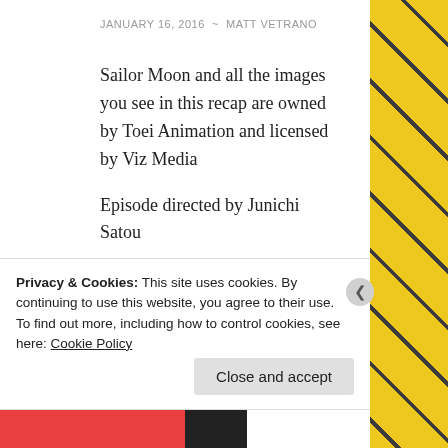JANUARY 16, 2016  ~  MATT VETRANO
Sailor Moon and all the images you see in this recap are owned by Toei Animation and licensed by Viz Media
Episode directed by Junichi Satou
We’re back with another episode of Sailor Moon: The Full Screen Years!  Now the last episode was pretty much a disaster in my opinion, but then one before it was one of the better ones in no small part due to the
Privacy & Cookies: This site uses cookies. By continuing to use this website, you agree to their use.
To find out more, including how to control cookies, see here: Cookie Policy
Close and accept